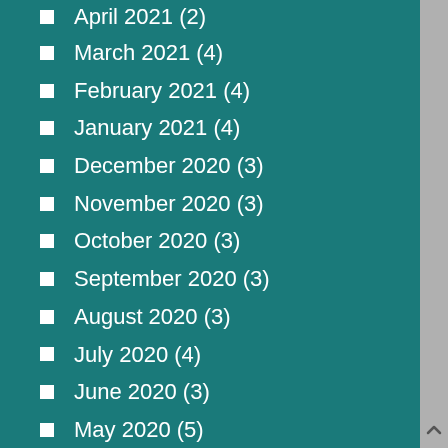April 2021 (2)
March 2021 (4)
February 2021 (4)
January 2021 (4)
December 2020 (3)
November 2020 (3)
October 2020 (3)
September 2020 (3)
August 2020 (3)
July 2020 (4)
June 2020 (3)
May 2020 (5)
April 2020 (4)
March 2020 (3)
February 2020 (3)
January 2020 (3)